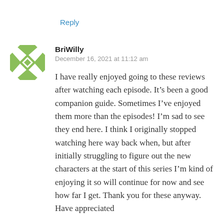Reply
[Figure (illustration): Green and white geometric avatar image with diamond/cross pattern for user BriWilly]
BriWilly
December 16, 2021 at 11:12 am
I have really enjoyed going to these reviews after watching each episode. It’s been a good companion guide. Sometimes I’ve enjoyed them more than the episodes! I’m sad to see they end here. I think I originally stopped watching here way back when, but after initially struggling to figure out the new characters at the start of this series I’m kind of enjoying it so will continue for now and see how far I get. Thank you for these anyway. Have appreciated